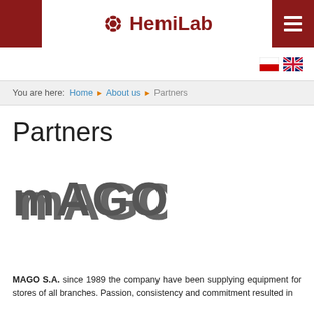HemiLab
You are here: Home ► About us ► Partners
Partners
[Figure (logo): MAGO company logo in bold grey rounded letters]
MAGO S.A. since 1989 the company have been supplying equipment for stores of all branches. Passion, consistency and commitment resulted in